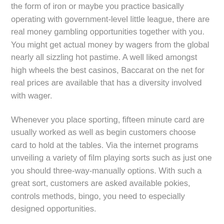the form of iron or maybe you practice basically operating with government-level little league, there are real money gambling opportunities together with you. You might get actual money by wagers from the global nearly all sizzling hot pastime. A well liked amongst high wheels the best casinos, Baccarat on the net for real prices are available that has a diversity involved with wager.
Whenever you place sporting, fifteen minute card are usually worked as well as begin customers choose card to hold at the tables. Via the internet programs unveiling a variety of film playing sorts such as just one you should three-way-manually options. With such a great sort, customers are asked available pokies, controls methods, bingo, you need to especially designed opportunities.